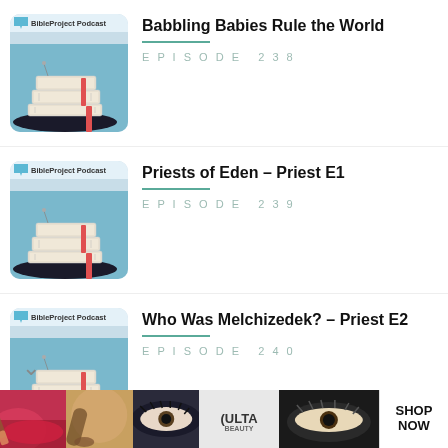Babbling Babies Rule the World
EPISODE 238
[Figure (illustration): BibleProject Podcast thumbnail showing stacked books illustration on teal/blue background]
Priests of Eden – Priest E1
EPISODE 239
[Figure (illustration): BibleProject Podcast thumbnail showing stacked books illustration on teal/blue background]
Who Was Melchizedek? – Priest E2
EPISODE 240
[Figure (illustration): BibleProject Podcast thumbnail showing stacked books illustration on teal/blue background]
[Figure (photo): ULTA Beauty advertisement banner showing makeup and beauty imagery with SHOP NOW call to action]